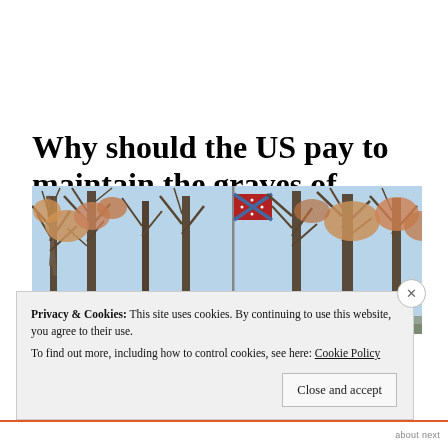Why should the US pay to maintain the graves of traitors?
[Figure (photo): Outdoor photograph showing bare winter trees with a Confederate flag on a flagpole visible in the background against a pale blue sky.]
Privacy & Cookies: This site uses cookies. By continuing to use this website, you agree to their use. To find out more, including how to control cookies, see here: Cookie Policy